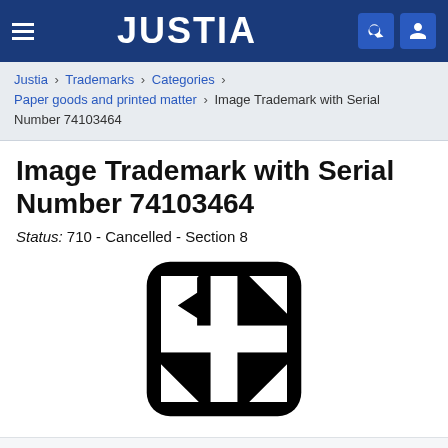JUSTIA
Justia › Trademarks › Categories › Paper goods and printed matter › Image Trademark with Serial Number 74103464
Image Trademark with Serial Number 74103464
Status: 710 - Cancelled - Section 8
[Figure (logo): Black rounded-square logo with a stylized cross/plus shape made of interlocking diagonal pieces, trademark image for serial number 74103464]
Serial Number
74103464